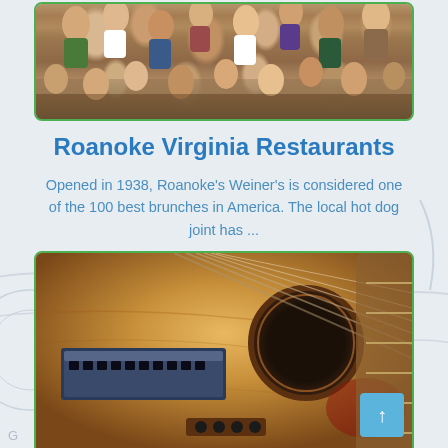[Figure (photo): Crowded restaurant scene with many people sitting at tables]
Roanoke Virginia Restaurants
Opened in 1938, Roanoke's Weiner's is considered one of the 100 best brunches in America. The local hot dog joint has ...
[Figure (photo): Close-up photo of an acoustic guitar with a harmonica resting on the strings]